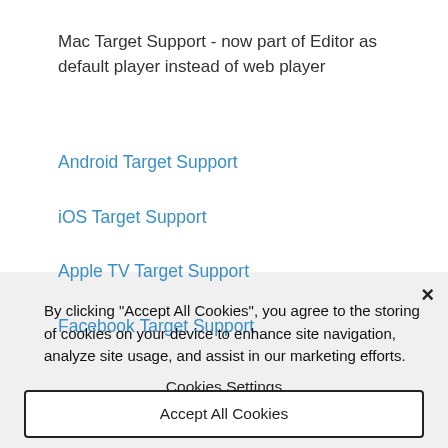Mac Target Support - now part of Editor as default player instead of web player
Android Target Support
iOS Target Support
Apple TV Target Support
Facebook Target Support
By clicking “Accept All Cookies”, you agree to the storing of cookies on your device to enhance site navigation, analyze site usage, and assist in our marketing efforts.
Cookies Settings
Accept All Cookies